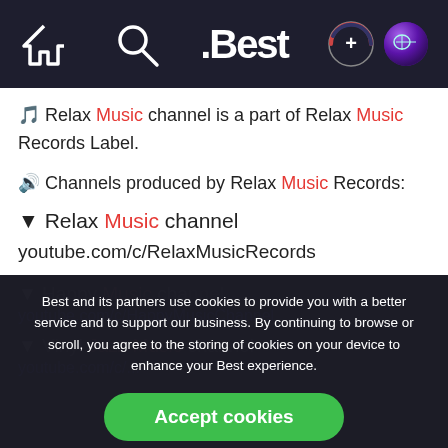.Best — navigation bar with home, search, logo, add, globe icons
🎵 Relax Music channel is a part of Relax Music Records Label.
🔊 Channels produced by Relax Music Records:
▼ Relax Music channel
youtube.com/c/RelaxMusicRecords
Best and its partners use cookies to provide you with a better service and to support our business. By continuing to browse or scroll, you agree to the storing of cookies on your device to enhance your Best experience.
▼ Happy Music channel
youtube.com/c/HappyMusicChannel
▼ Vinyl Jazz Music channel
youtube.com/c/...
Learn more about our privacy policy.